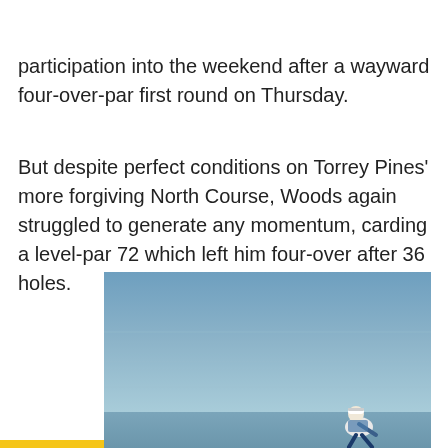participation into the weekend after a wayward four-over-par first round on Thursday.
But despite perfect conditions on Torrey Pines' more forgiving North Course, Woods again struggled to generate any momentum, carding a level-par 72 which left him four-over after 36 holes.
[Figure (photo): A golfer (Tiger Woods) crouching/bending down on a golf course with a blue sky background at Torrey Pines. The golfer is wearing a white cap and white/blue outfit.]